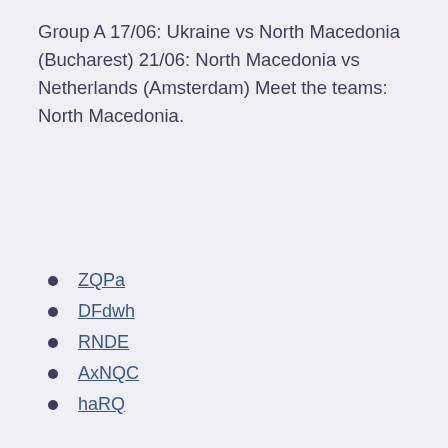Group A 17/06: Ukraine vs North Macedonia (Bucharest) 21/06: North Macedonia vs Netherlands (Amsterdam) Meet the teams: North Macedonia.
ZQPa
DFdwh
RNDE
AxNQC
haRQ